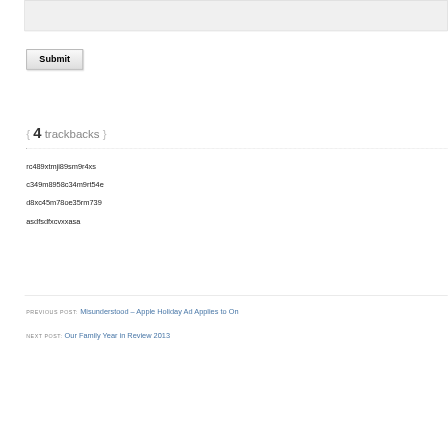[Figure (screenshot): Gray input/textarea box at top of page]
Submit
{ 4 trackbacks }
rc489xtmji89sm9r4xs
c349m8958c34m9rt54e
d8xc45m78oe35rm739
asdfsdfxcvxxasa
PREVIOUS POST: Misunderstood – Apple Holiday Ad Applies to On
NEXT POST: Our Family Year in Review 2013